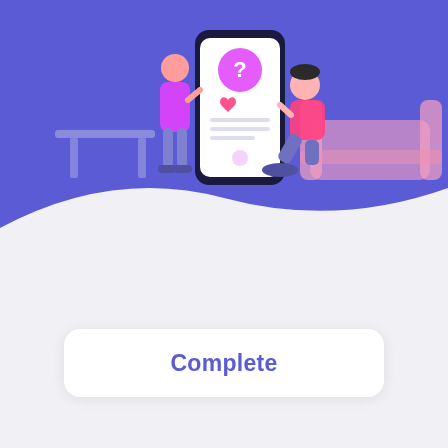[Figure (illustration): Two people interacting with a large smartphone showing a social media interface with a heart icon and menu items. One person stands pointing at the phone, another kneels beside it. A couch is visible in the background. Purple/blue background.]
Online Presence Analysis and Audit
A successful digital strategy is based on a thorough analysis of your online presence.
Complete